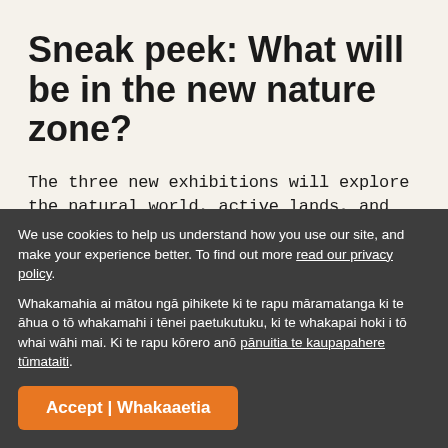Sneak peek: What will be in the new nature zone?
The three new exhibitions will explore the natural world, active lands, and today’s environmental challenges, including spaces dedicated to:
Earthquakes
A new active, hands-on space for people to find out about earthquakes – why they happen, and
We use cookies to help us understand how you use our site, and make your experience better. To find out more read our privacy policy.
Whakamahia ai mātou ngā pihikete ki te rapu māramatanga ki te āhua o tō whakamahi i tēnei paetukutuku, ki te whakapai hoki i tō whai wāhi mai. Ki te rapu kōrero anō pānuitia te kaupapahere tūmataiti.
Accept | Whakaaetia